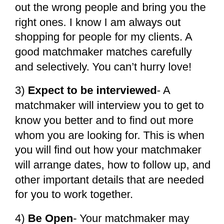out the wrong people and bring you the right ones. I know I am always out shopping for people for my clients. A good matchmaker matches carefully and selectively. You can't hurry love!
3) Expect to be interviewed- A matchmaker will interview you to get to know you better and to find out more whom you are looking for. This is when you will find out how your matchmaker will arrange dates, how to follow up, and other important details that are needed for you to work together.
4) Be Open- Your matchmaker may want to send you out with someone that may not be your normal type, take a chance, and go on the date, because it could be the one. There are plenty of people who end up with someone that they never imagined they would be with. Love has a way of striking when we least expect it. Keep your head up and your heart open to the possibilities.